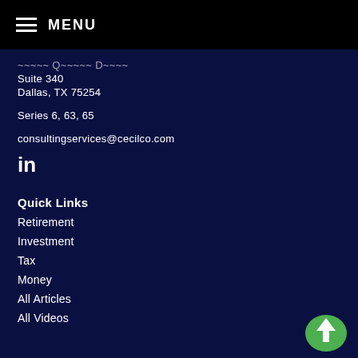MENU
[partial address line - obscured]
Suite 340
Dallas, TX 75254
Series 6, 63, 65
consultingservices@cecilco.com
[Figure (logo): LinkedIn icon]
Quick Links
Retirement
Investment
Tax
Money
All Articles
All Videos